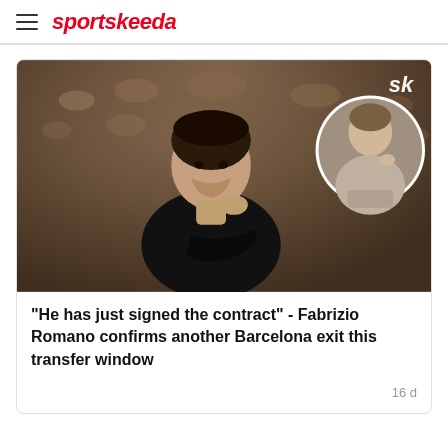sportskeeda
[Figure (photo): A man in a black t-shirt thinking with hand on chin, with a blurred stadium crowd in the background and a circular inset photo of another man on the right side. The Sportskeeda 'sk' logo is in the top right corner.]
"He has just signed the contract" - Fabrizio Romano confirms another Barcelona exit this transfer window
16 d